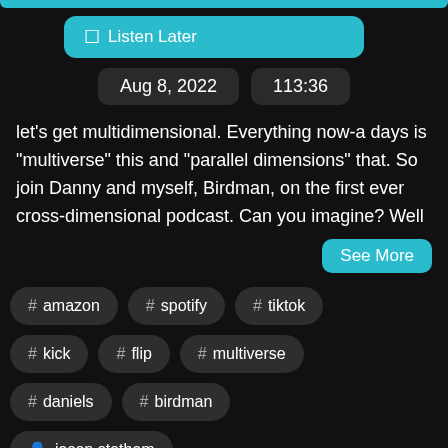[Figure (screenshot): Teal top bar at top of page (partial UI element)]
Listen Later
Aug 8, 2022   113:36
let's get multidimensional.  Everything now-a days is "multiverse" this and "parallel dimensions" that.  So join Danny and myself, Birdman, on the first ever cross-dimensional podcast.  Can you imagine?  Well
See More
# amazon
# spotify
# tiktok
# kick
# flip
# multiverse
# daniels
# birdman
jason statham